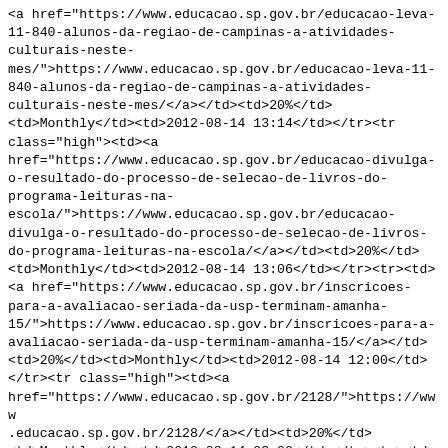<a href="https://www.educacao.sp.gov.br/educacao-leva-11-840-alunos-da-regiao-de-campinas-a-atividades-culturais-neste-mes/">https://www.educacao.sp.gov.br/educacao-leva-11-840-alunos-da-regiao-de-campinas-a-atividades-culturais-neste-mes/</a></td><td>20%</td><td>Monthly</td><td>2012-08-14 13:14</td></tr><tr class="high"><td><a href="https://www.educacao.sp.gov.br/educacao-divulga-o-resultado-do-processo-de-selecao-de-livros-do-programa-leituras-na-escola/">https://www.educacao.sp.gov.br/educacao-divulga-o-resultado-do-processo-de-selecao-de-livros-do-programa-leituras-na-escola/</a></td><td>20%</td><td>Monthly</td><td>2012-08-14 13:06</td></tr><tr><td><a href="https://www.educacao.sp.gov.br/inscricoes-para-a-avaliacao-seriada-da-usp-terminam-amanha-15/">https://www.educacao.sp.gov.br/inscricoes-para-a-avaliacao-seriada-da-usp-terminam-amanha-15/</a></td><td>20%</td><td>Monthly</td><td>2012-08-14 12:00</td></tr><tr class="high"><td><a href="https://www.educacao.sp.gov.br/2128/">https://www.educacao.sp.gov.br/2128/</a></td><td>20%</td><td>Monthly</td><td>2012-08-14 03:00</td></tr><tr><td><a href="https://www.educacao.sp.gov.br/acompanhe-a-visita-de-40-alunos-pela-22-bienal-do-livro/">https://www.educacao.sp.gov.br/acompanhe-a-visita-de-40-alunos-pela-22-bienal-do-livro/</a></td><td>20%</td><td>Monthly</td><td>2012-08-13 21:00</td></tr><tr class="high"><td><a